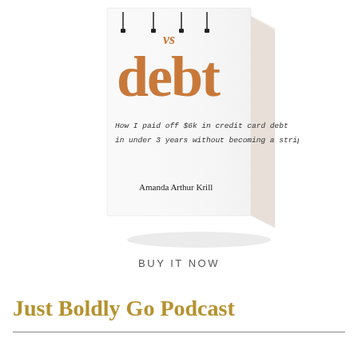[Figure (photo): A 3D rendered book cover titled 'vs debt' with ornament hangers on the letters. Subtitle in handwritten font reads 'How I paid off $6k in credit card debt in under 3 years without becoming a stripper'. Author: Amanda Arthur Krill.]
BUY IT NOW
Just Boldly Go Podcast